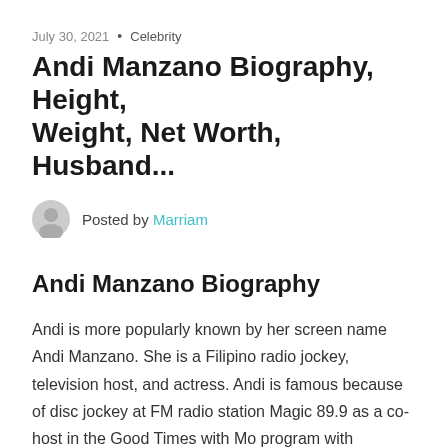July 30, 2021 • Celebrity
Andi Manzano Biography, Height, Weight, Net Worth, Husband...
Posted by Marriam
Andi Manzano Biography
Andi is more popularly known by her screen name Andi Manzano. She is a Filipino radio jockey, television host, and actress. Andi is famous because of disc jockey at FM radio station Magic 89.9 as a co-host in the Good Times with Mo program with